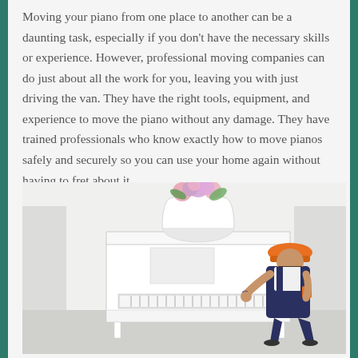Moving your piano from one place to another can be a daunting task, especially if you don't have the necessary skills or experience. However, professional moving companies can do just about all the work for you, leaving you with just driving the van. They have the right tools, equipment, and experience to move the piano without any damage. They have trained professionals who know exactly how to move pianos safely and securely so you can use your home again without having to fret about it.
[Figure (photo): A bearded man wearing an orange hard hat and dark blue overalls with orange accents is pushing a white upright piano. On top of the piano sits a white vase with pink and purple flowers. The background is a white room.]